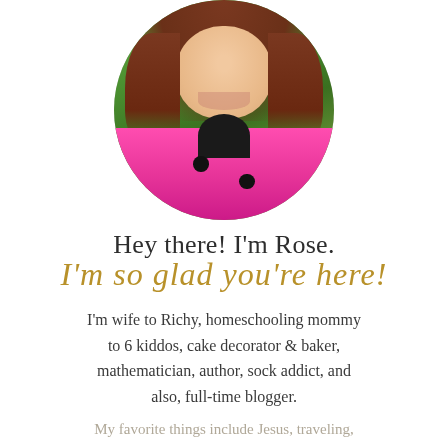[Figure (photo): Circular cropped photo of a woman with brown hair wearing a bright pink jacket with dark collar and buttons, smiling, taken outdoors with green background]
Hey there! I'm Rose.
I'm so glad you're here!
I'm wife to Richy, homeschooling mommy to 6 kiddos, cake decorator & baker, mathematician, author, sock addict, and also, full-time blogger.
My favorite things include Jesus, traveling,